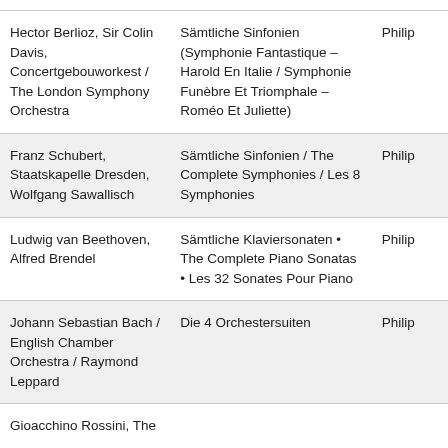| Hector Berlioz, Sir Colin Davis, Concertgebouworkest / The London Symphony Orchestra | Sämtliche Sinfonien (Symphonie Fantastique – Harold En Italie / Symphonie Funèbre Et Triomphale – Roméo Et Juliette) | Philip |
| Franz Schubert, Staatskapelle Dresden, Wolfgang Sawallisch | Sämtliche Sinfonien / The Complete Symphonies / Les 8 Symphonies | Philip |
| Ludwig van Beethoven, Alfred Brendel | Sämtliche Klaviersonaten • The Complete Piano Sonatas • Les 32 Sonates Pour Piano | Philip |
| Johann Sebastian Bach / English Chamber Orchestra / Raymond Leppard | Die 4 Orchestersuiten | Philip |
| Gioacchino Rossini, The |  |  |